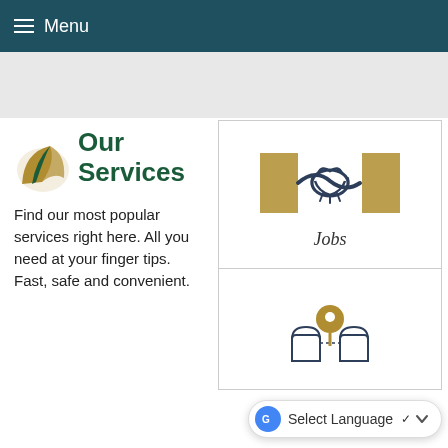Menu
Our Services
Find our most popular services right here. All you need at your finger tips. Fast, safe and convenient.
[Figure (illustration): Jobs service card with handshake icon and gold background shapes]
Jobs
[Figure (illustration): Location pin icon over building outline for a second service card]